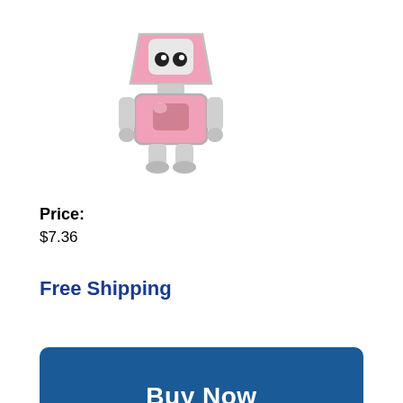[Figure (photo): A small pink and silver robot charm figurine, suitable for a bracelet. The robot has a pink trapezoidal head with a white face panel, black eyes, and silver metallic body with pink accents and small clawed feet.]
Price:
$7.36
Free Shipping
Buy Now